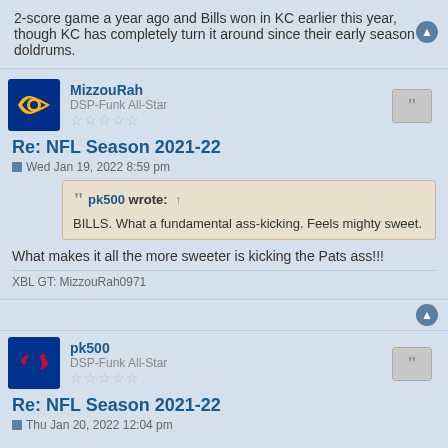2-score game a year ago and Bills won in KC earlier this year, though KC has completely turn it around since their early season doldrums.
MizzouRah
DSP-Funk All-Star
★★★★★
Re: NFL Season 2021-22
Wed Jan 19, 2022 8:59 pm
pk500 wrote: ↑
BILLS. What a fundamental ass-kicking. Feels mighty sweet.
What makes it all the more sweeter is kicking the Pats ass!!!
XBL GT: MizzouRah0971
pk500
DSP-Funk All-Star
★★★★★
Re: NFL Season 2021-22
Thu Jan 20, 2022 12:04 pm